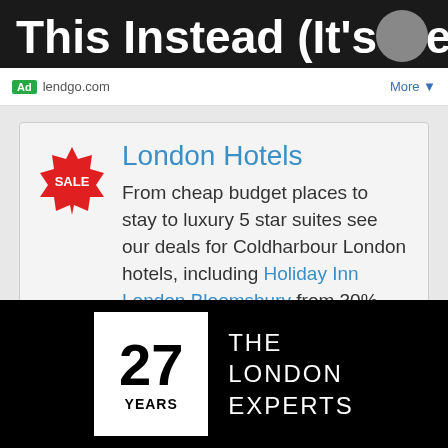[Figure (screenshot): Dark top banner with bold white text 'This Instead (It’s Genius)' partially visible, with a grey circle icon on the right]
Ad lendgo.com More
[Figure (infographic): Ad card with a red SALE starburst badge, heading 'London Hotels' in blue, and text: From cheap budget places to stay to luxury 5 star suites see our deals for Coldharbour London hotels, including Holiday Inn London Bloomsbury from 30% off.]
[Figure (logo): Black footer bar with a white box showing '27 YEARS' and text 'THE LONDON EXPERTS' in white letters]